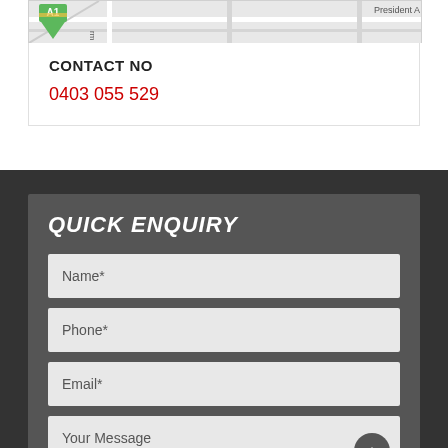[Figure (map): Street map showing intersection with green A1 marker icon and President Ave label]
CONTACT NO
0403 055 529
QUICK ENQUIRY
Name*
Phone*
Email*
Your Message
Submit